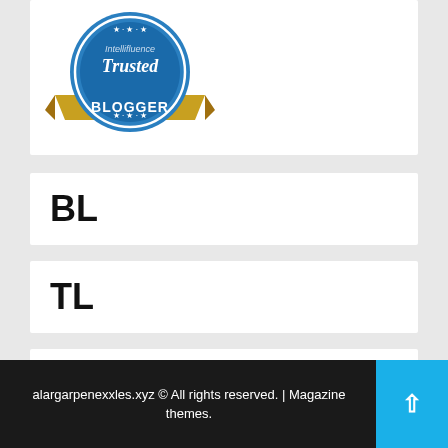[Figure (logo): Intellifluence Trusted Blogger badge — circular blue and gold badge with text 'Trusted BLOGGER']
BL
TL
buildinglink.buybacklinks.online/agence-seo
alargarpenexxles.xyz © All rights reserved. | Magazine themes.